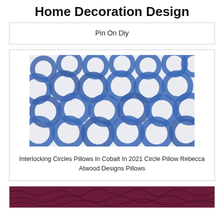Home Decoration Design
Pin On Diy
[Figure (photo): A decorative pillow with interlocking circles pattern in cobalt blue on a white background, resembling overlapping rings in a shibori/tie-dye style.]
Interlocking Circles Pillows In Cobalt In 2021 Circle Pillow Rebecca Atwood Designs Pillows
[Figure (photo): Bottom strip of a textured dark magenta/burgundy furry fabric.]